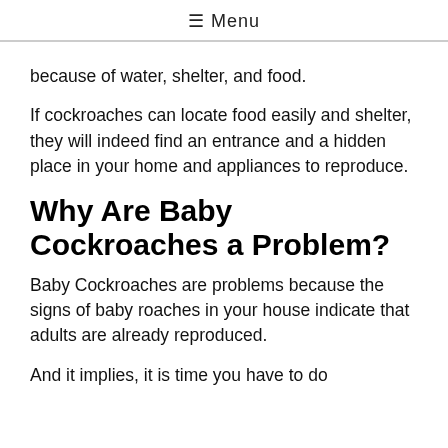≡ Menu
because of water, shelter, and food.
If cockroaches can locate food easily and shelter, they will indeed find an entrance and a hidden place in your home and appliances to reproduce.
Why Are Baby Cockroaches a Problem?
Baby Cockroaches are problems because the signs of baby roaches in your house indicate that adults are already reproduced.
And it implies, it is time you have to do